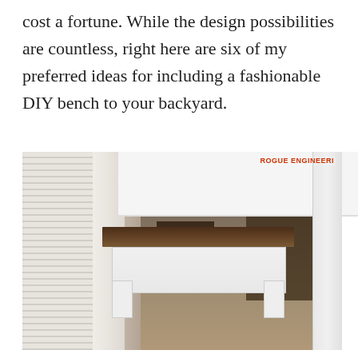cost a fortune. While the design possibilities are countless, right here are six of my preferred ideas for including a fashionable DIY bench to your backyard.
[Figure (photo): Photo of a white wooden DIY bench with a dark walnut/brown stained wood seat top, positioned under a large white dining table with ornate turned legs, on a hardwood floor with a woven rug. A dining room with chairs is visible in the background. Watermark reads 'ROGUE ENGINEERI' in red.]